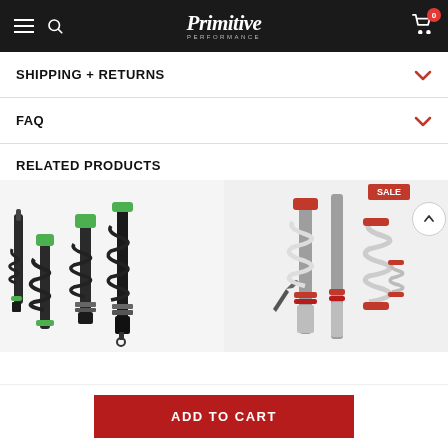Primitive Performance
SHIPPING + RETURNS
FAQ
RELATED PRODUCTS
[Figure (photo): Two coilover suspension kits - green/black set on left and red/silver set on right with a Sale badge]
ADD TO CART